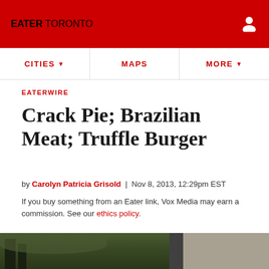EATER TORONTO
EATERWIRE
Crack Pie; Brazilian Meat; Truffle Burger
by Carolyn Patricia Grisold | Nov 8, 2013, 12:29pm EST
If you buy something from an Eater link, Vox Media may earn a commission. See our ethics policy.
[Figure (photo): Bottom strip showing exterior of a building with trees and a wall/column on the right side]